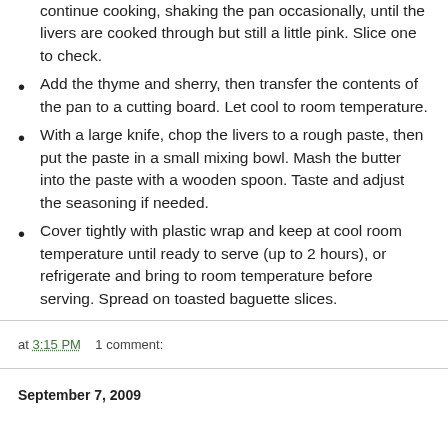continue cooking, shaking the pan occasionally, until the livers are cooked through but still a little pink. Slice one to check.
Add the thyme and sherry, then transfer the contents of the pan to a cutting board. Let cool to room temperature.
With a large knife, chop the livers to a rough paste, then put the paste in a small mixing bowl. Mash the butter into the paste with a wooden spoon. Taste and adjust the seasoning if needed.
Cover tightly with plastic wrap and keep at cool room temperature until ready to serve (up to 2 hours), or refrigerate and bring to room temperature before serving. Spread on toasted baguette slices.
at 3:15 PM    1 comment:
September 7, 2009